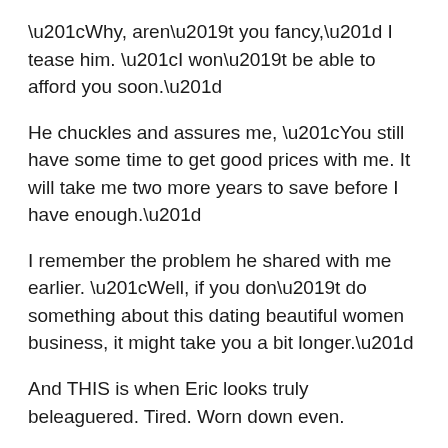“Why, aren’t you fancy,” I tease him. “I won’t be able to afford you soon.”
He chuckles and assures me, “You still have some time to get good prices with me. It will take me two more years to save before I have enough.”
I remember the problem he shared with me earlier. “Well, if you don’t do something about this dating beautiful women business, it might take you a bit longer.”
And THIS is when Eric looks truly beleaguered. Tired. Worn down even.
“I know,” he sighs. “But, it is hard. These women in Kigali nowadays…”
Then, his voice trails off and I see on his face the universal